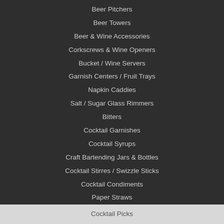Beer Pitchers
Beer Towers
Beer & Wine Accessories
Corkscrews & Wine Openers
Bucket / Wine Servers
Garnish Centers / Fruit Trays
Napkin Caddies
Salt / Sugar Glass Rimmers
Bitters
Cocktail Garnishes
Cocktail Syrups
Craft Bartending Jars & Bottles
Cocktail Stirres / Swizzle Sticks
Cocktail Condiments
Paper Straws
Cocktail Picks
Disposable Coasters